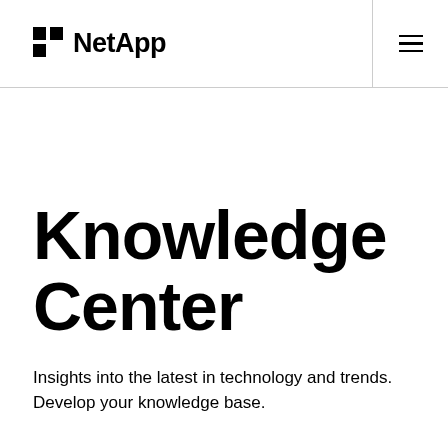NetApp
Knowledge Center
Insights into the latest in technology and trends. Develop your knowledge base.